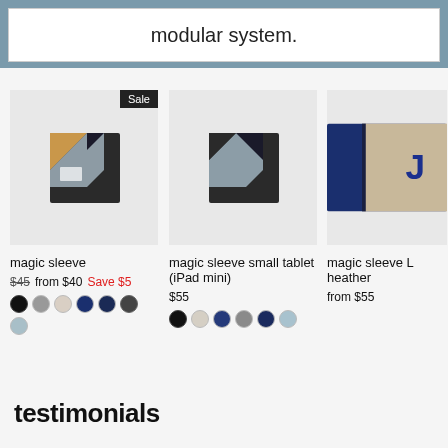modular system.
[Figure (photo): magic sleeve product photo - dark fabric sleeve with orange/yellow and light blue inner lining, shown open]
magic sleeve
$45  from $40  Save $5
[Figure (photo): magic sleeve small tablet (iPad mini) product photo - dark fabric sleeve with light blue inner lining]
magic sleeve small tablet (iPad mini)
$55
[Figure (photo): magic sleeve L heather product photo - blue and beige/heather colored sleeve, partially cropped]
magic sleeve L heather
from $55
testimonials